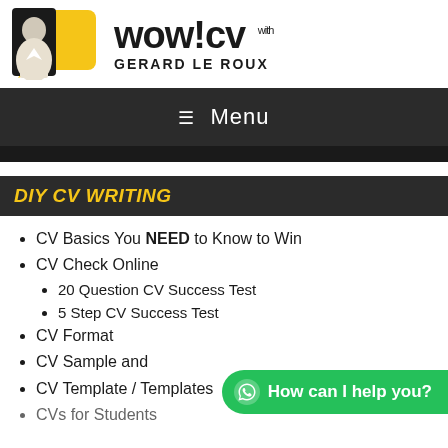[Figure (logo): WOW!CV logo with photo of Gerard Le Roux on yellow speech bubble background, and text 'WOW!CV with GERARD LE ROUX']
Menu
DIY CV WRITING
CV Basics You NEED to Know to Win
CV Check Online
20 Question CV Success Test
5 Step CV Success Test
CV Format
CV Sample and
CV Template / Templates
CVs for Students
[Figure (illustration): Green WhatsApp-style button overlay reading 'How can I help you?']